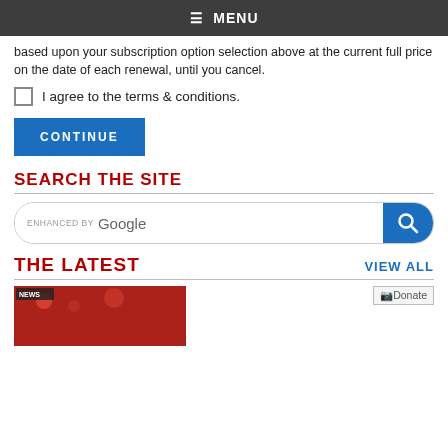☰ MENU
based upon your subscription option selection above at the current full price on the date of each renewal, until you cancel.
I agree to the terms & conditions.
CONTINUE
SEARCH THE SITE
[Figure (screenshot): Google enhanced search bar with magnifying glass button]
THE LATEST
VIEW ALL
[Figure (photo): News broadcast thumbnail image in red tones]
Donate